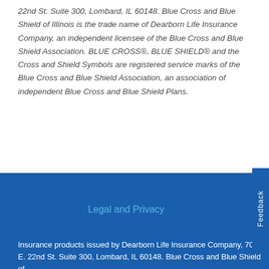22nd St. Suite 300, Lombard, IL 60148. Blue Cross and Blue Shield of Illinois is the trade name of Dearborn Life Insurance Company, an independent licensee of the Blue Cross and Blue Shield Association. BLUE CROSS®, BLUE SHIELD® and the Cross and Shield Symbols are registered service marks of the Blue Cross and Blue Shield Association, an association of independent Blue Cross and Blue Shield Plans.
Feedback
Legal and Privacy
Insurance products issued by Dearborn Life Insurance Company, 701 E. 22nd St. Suite 300, Lombard, IL 60148. Blue Cross and Blue Shield of